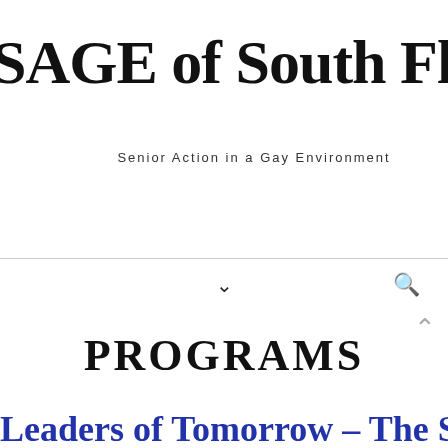SAGE of South Florida
Senior Action in a Gay Environment
Navigation bar with dropdown chevron and search icon
PROGRAMS
Leaders of Tomorrow – The SAGE of